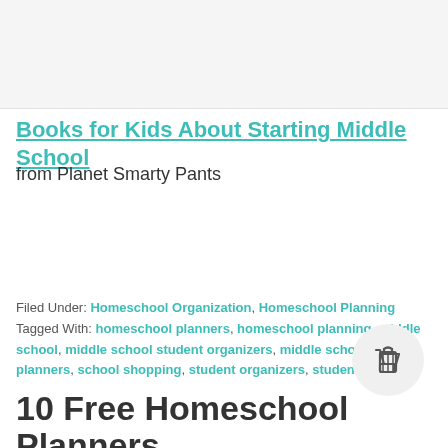[Figure (photo): Image placeholder at top of page]
Books for Kids About Starting Middle School
from Planet Smarty Pants
Filed Under: Homeschool Organization, Homeschool Planning
Tagged With: homeschool planners, homeschool planning, middle school, middle school student organizers, middle school student planners, school shopping, student organizers, student planners
10 Free Homeschool Planners